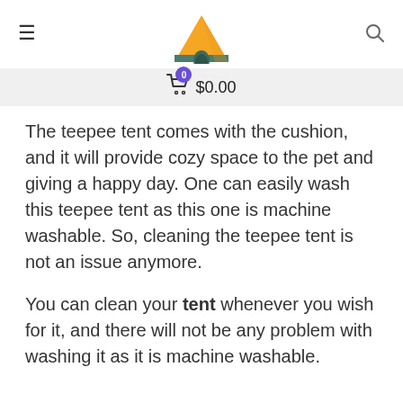≡  [tent logo]  🔍  $0.00 (cart: 0)
The teepee tent comes with the cushion, and it will provide cozy space to the pet and giving a happy day. One can easily wash this teepee tent as this one is machine washable. So, cleaning the teepee tent is not an issue anymore.
You can clean your tent whenever you wish for it, and there will not be any problem with washing it as it is machine washable.